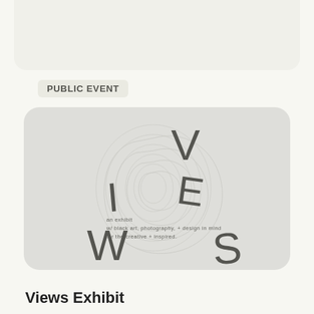View details →
PUBLIC EVENT
[Figure (illustration): VIEWS exhibit logo/poster with large letters V, I, E, W, S arranged diagonally on a light gray background with a topographic/organic line pattern in the center. Text reads: 'an exhibit w/ black art, photography, + design in mind for the creative + inspired.']
Views Exhibit